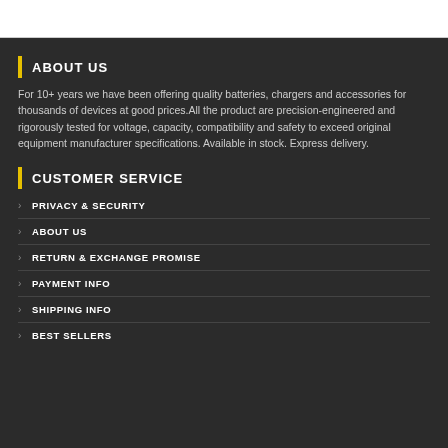ABOUT US
For 10+ years we have been offering quality batteries, chargers and accessories for thousands of devices at good prices.All the product are precision-engineered and rigorously tested for voltage, capacity, compatibility and safety to exceed original equipment manufacturer specifications. Available in stock. Express delivery.
CUSTOMER SERVICE
PRIVACY & SECURITY
ABOUT US
RETURN & EXCHANGE PROMISE
PAYMENT INFO
SHIPPING INFO
BEST SELLERS